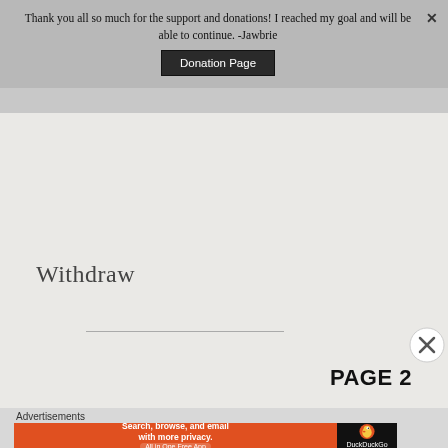Thank you all so much for the support and donations! I reached my goal and will be able to continue. -Jawbrie
Donation Page
Withdraw
PAGE 2
Advertisements
[Figure (screenshot): DuckDuckGo advertisement banner: 'Search, browse, and email with more privacy. All in One Free App' with DuckDuckGo logo on the right side on a dark background.]